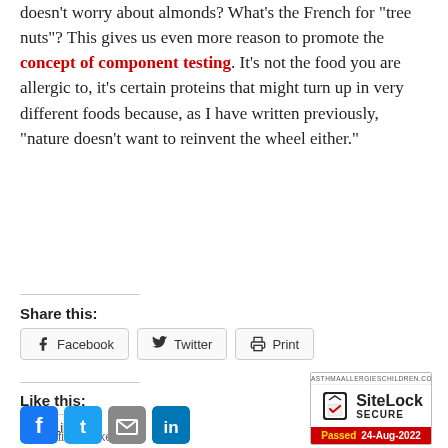doesn't worry about almonds? What's the French for "tree nuts"? This gives us even more reason to promote the concept of component testing. It's not the food you are allergic to, it's certain proteins that might turn up in very different foods because, as I have written previously, "nature doesn't want to reinvent the wheel either."
Share this:
Like this:
Be the first to like this.
[Figure (logo): SiteLock SECURE badge showing 'Passed 24-Aug-2022' from asthmaallergieschildren.com]